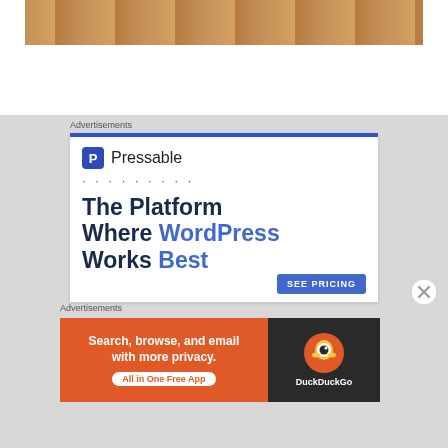[Figure (photo): Top portion of a photo showing a person's legs on a stone/paver surface outdoors]
Advertisements
[Figure (screenshot): Pressable advertisement: The Platform Where WordPress Works Best, with SEE PRICING button]
Advertisements
[Figure (screenshot): DuckDuckGo advertisement: Search, browse, and email with more privacy. All in One Free App]